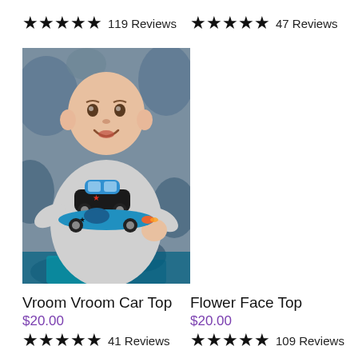★★★★★ 119 Reviews
★★★★★ 47 Reviews
[Figure (photo): Baby wearing a grey long-sleeve top with appliqued race cars (black car with blue details and a blue race car), sitting on a blue fluffy background]
Vroom Vroom Car Top
$20.00
★★★★★ 41 Reviews
Flower Face Top
$20.00
★★★★★ 109 Reviews